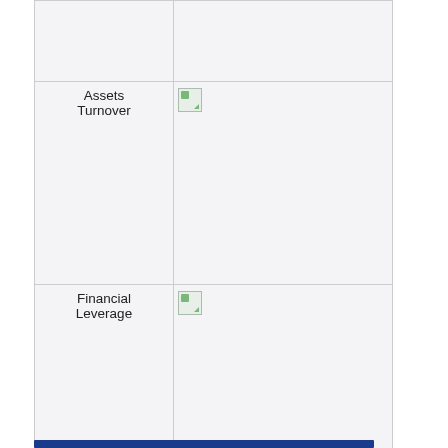| Metric | Chart |
| --- | --- |
|  |  |
| Assets Turnover | [chart image] |
| Financial Leverage | [chart image] |
|  |  |